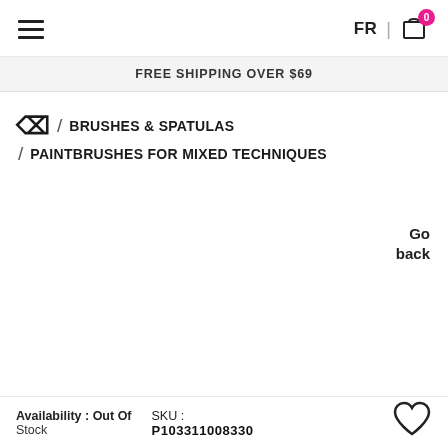FR | 0 (cart)
FREE SHIPPING OVER $69
/ BRUSHES & SPATULAS / PAINTBRUSHES FOR MIXED TECHNIQUES
Go back
Availability : Out Of  SKU : P103311008330